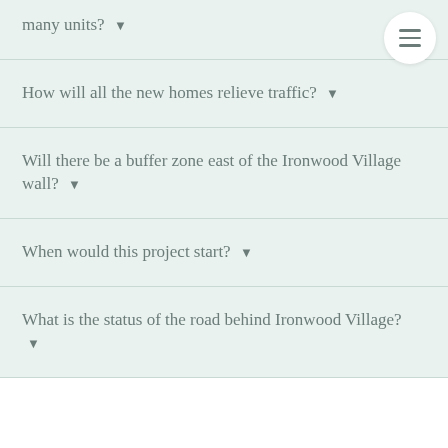many units? ▼
How will all the new homes relieve traffic? ▼
Will there be a buffer zone east of the Ironwood Village wall? ▼
When would this project start? ▼
What is the status of the road behind Ironwood Village? ▼